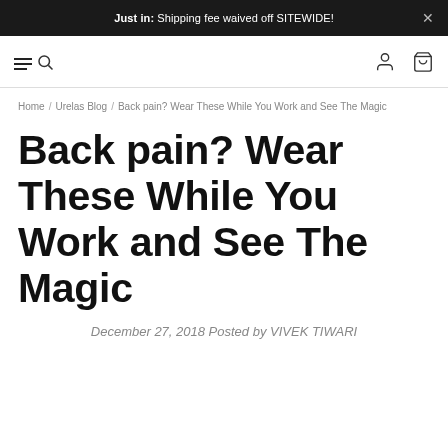Just in: Shipping fee waived off SITEWIDE!
Back pain? Wear These While You Work and See The Magic
December 27, 2018 Posted by VIVEK TIWARI